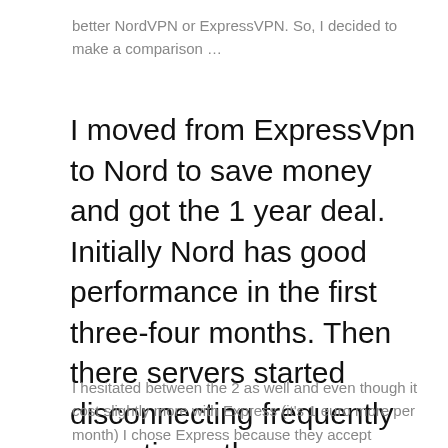better NordVPN or ExpressVPN. So, I decided to make a comparison …
I moved from ExpressVpn to Nord to save money and got the 1 year deal. Initially Nord has good performance in the first three-four months. Then there servers started disconnecting frequently sometimes the servers would stop working and you had to reconnect to a new one. This can be inconvenient if do stream or download a lot. After the security fallout with Nord where they had one of their
I hesitated between the 2 as well and even though it cost slightly more with Express (it's 1 euro more per month) I chose Express because they accept PayPal, 10 servers on 10 3Mbps